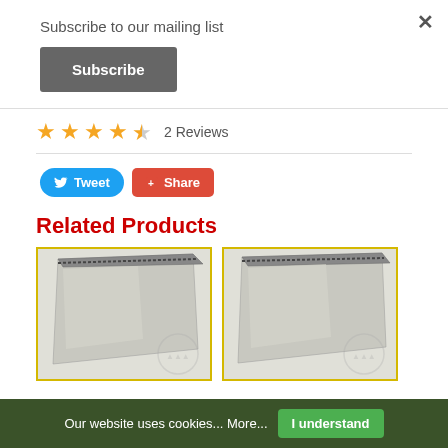×
Subscribe to our mailing list
Subscribe
★★★★☆ 2 Reviews
[Figure (screenshot): Tweet and Share social buttons]
Related Products
[Figure (photo): Product image 1 - poly mailer bag]
[Figure (photo): Product image 2 - poly mailer bag]
Our website uses cookies... More...    I understand